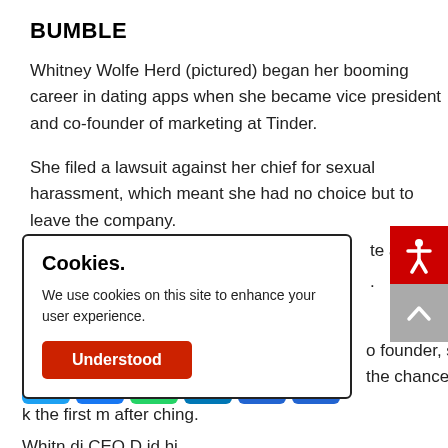BUMBLE
Whitney Wolfe Herd (pictured) began her booming career in dating apps when she became vice president and co-founder of marketing at Tinder.
She filed a lawsuit against her chief for sexual harassment, which meant she had no choice but to leave the company.
te against her
[Figure (screenshot): Cookie consent modal overlay with title 'Cookies.', body text 'We use cookies on this site to enhance your user experience.', and a red 'Understood' button.]
[Figure (infographic): Red accessibility icon button and gray scroll-to-top button on the right edge.]
o founder, she the chance to
[Figure (infographic): Social sharing bar with icons for Twitter, Facebook, WhatsApp, LinkedIn, Email, and More.]
k the first m after ching.
Whitn di CEO D id hi